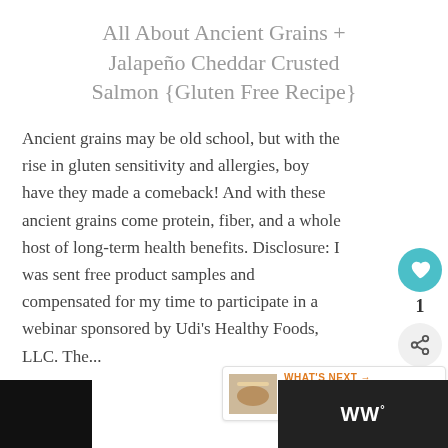All About Ancient Grains + Jalapeño Cheddar Crusted Salmon {Gluten Free Recipe}
Ancient grains may be old school, but with the rise in gluten sensitivity and allergies, boy have they made a comeback! And with these ancient grains come protein, fiber, and a whole host of long-term health benefits. Disclosure: I was sent free product samples and compensated for my time to participate in a webinar sponsored by Udi's Healthy Foods, LLC. The...
[Figure (infographic): Social share sidebar with heart icon (teal circle), count '1', and share icon (grey circle)]
[Figure (infographic): What's Next widget showing 'WHAT'S NEXT →' label, food image thumbnail, and text 'Cinnamon Apple Noodl...']
[Figure (infographic): Bottom bar with black section on left and dark grey section on right containing WW degree logo in white]